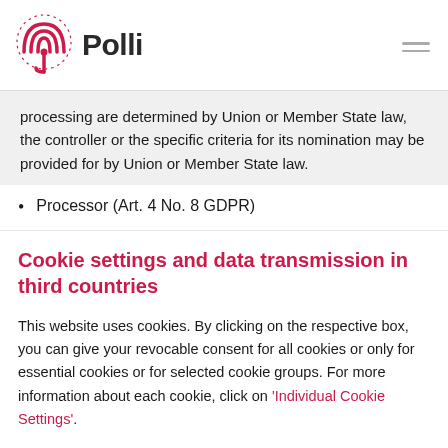Polli
processing are determined by Union or Member State law, the controller or the specific criteria for its nomination may be provided for by Union or Member State law.
Processor (Art. 4 No. 8 GDPR)
Cookie settings and data transmission in third countries
This website uses cookies. By clicking on the respective box, you can give your revocable consent for all cookies or only for essential cookies or for selected cookie groups. For more information about each cookie, click on 'Individual Cookie Settings'.